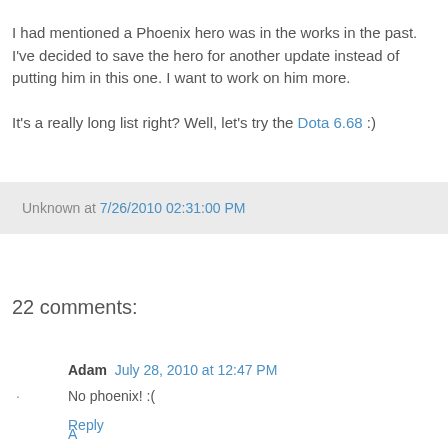I had mentioned a Phoenix hero was in the works in the past. I've decided to save the hero for another update instead of putting him in this one. I want to work on him more.
It's a really long list right? Well, let's try the Dota 6.68 :)
Unknown at 7/26/2010 02:31:00 PM
22 comments:
Adam  July 28, 2010 at 12:47 PM
No phoenix! :(
Reply